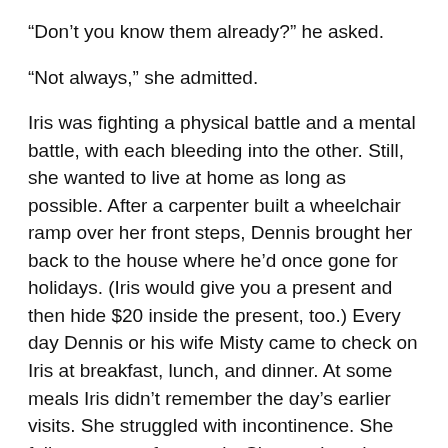“Don’t you know them already?” he asked.
“Not always,” she admitted.
Iris was fighting a physical battle and a mental battle, with each bleeding into the other. Still, she wanted to live at home as long as possible. After a carpenter built a wheelchair ramp over her front steps, Dennis brought her back to the house where he’d once gone for holidays. (Iris would give you a present and then hide $20 inside the present, too.) Every day Dennis or his wife Misty came to check on Iris at breakfast, lunch, and dinner. At some meals Iris didn’t remember the day’s earlier visits. She struggled with incontinence. She fell even more frequently. She continued to tear out her wound vac.